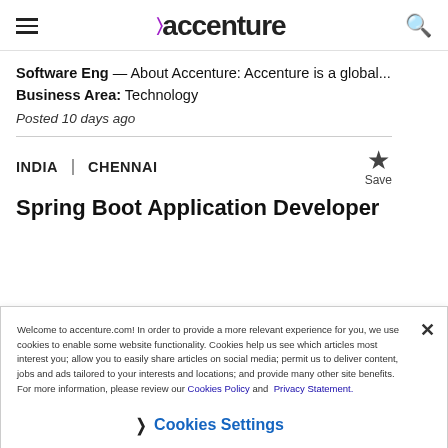accenture
Software Eng — About Accenture: Accenture is a global...
Business Area: Technology
Posted 10 days ago
INDIA | CHENNAI
Spring Boot Application Developer
Welcome to accenture.com! In order to provide a more relevant experience for you, we use cookies to enable some website functionality. Cookies help us see which articles most interest you; allow you to easily share articles on social media; permit us to deliver content, jobs and ads tailored to your interests and locations; and provide many other site benefits. For more information, please review our Cookies Policy and Privacy Statement.
Cookies Settings
SEARCH JOBS
CAREERS BLOG
REGISTER FOR JOB ALERTS